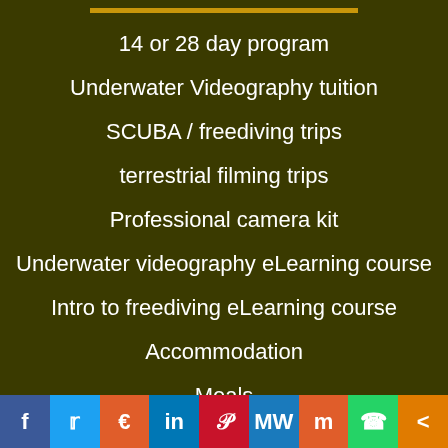14 or 28 day program
Underwater Videography tuition
SCUBA / freediving trips
terrestrial filming trips
Professional camera kit
Underwater videography eLearning course
Intro to freediving eLearning course
Accommodation
Meals
Internet